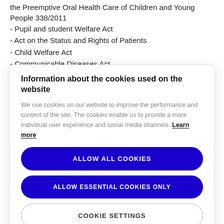the Preemptive Oral Health Care of Children and Young People 338/2011
- Pupil and student Welfare Act
- Act on the Status and Rights of Patients
- Child Welfare Act
- Communicable Diseases Act
Information about the cookies used on the website
We use cookies on our website to improve the performance and content of the site. The cookies enable us to provide a more individual user experience and social media channels. Learn more
ALLOW ALL COOKIES
ALLOW ESSENTIAL COOKIES ONLY
COOKIE SETTINGS